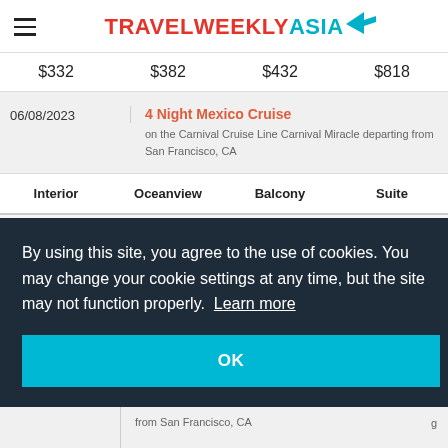TRAVEL WEEKLY ASIA
$332  $382  $432  $818
| Date | Cruise | Interior | Oceanview | Balcony | Suite |
| --- | --- | --- | --- | --- | --- |
| 06/08/2023 | 4 Night Mexico Cruise on the Carnival Cruise Line Carnival Miracle departing from San Francisco, CA |  |  |  |  |
Interior  Oceanview  Balcony  Suite
By using this site, you agree to the use of cookies. You may change your cookie settings at any time, but the site may not function properly. Learn more
OK